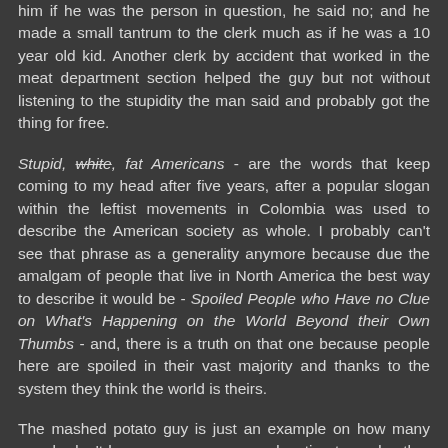him if he was the person in question, he said no; and he made a small tantrum to the clerk much as if he was a 10 year old kid. Another clerk by accident that worked in the meat department section helped the guy but not without listening to the stupidity the man said and probably got the thing for free.
Stupid, white, fat Americans - are the words that keep coming to my head after five years, after a popular slogan within the leftist movements in Colombia was used to describe the American society as whole. I probably can't see that phrase as a generality anymore because due the amalgam of people that live in North America the best way to describe it would be - Spoiled People who Have no Clue on What's Happening on the World Beyond their Own Thumbs - and, there is a truth on that one because people here are spoiled in their vast majority and thanks to the system they think the world is theirs.
The mashed potato guy is just an example on how many people don't have any manners or education towards other people reality and they follow blindly what happens on the